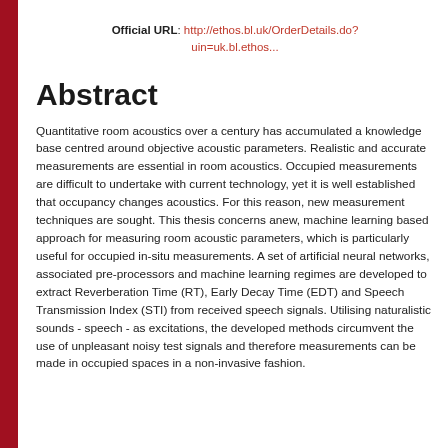Official URL: http://ethos.bl.uk/OrderDetails.do?uin=uk.bl.ethos...
Abstract
Quantitative room acoustics over a century has accumulated a knowledge base centred around objective acoustic parameters. Realistic and accurate measurements are essential in room acoustics. Occupied measurements are difficult to undertake with current technology, yet it is well established that occupancy changes acoustics. For this reason, new measurement techniques are sought. This thesis concerns anew, machine learning based approach for measuring room acoustic parameters, which is particularly useful for occupied in-situ measurements. A set of artificial neural networks, associated pre-processors and machine learning regimes are developed to extract Reverberation Time (RT), Early Decay Time (EDT) and Speech Transmission Index (STI) from received speech signals. Utilising naturalistic sounds - speech - as excitations, the developed methods circumvent the use of unpleasant noisy test signals and therefore measurements can be made in occupied spaces in a non-invasive fashion.